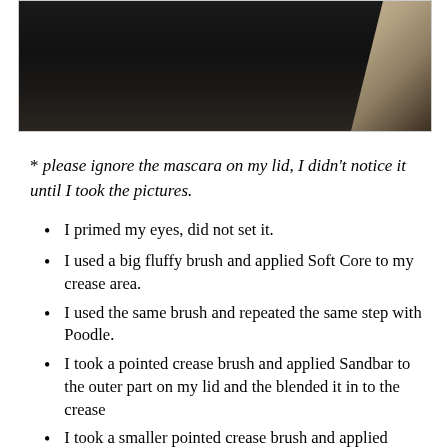[Figure (photo): Close-up photo showing a dark background with what appears to be a person's eye/lid area, partially visible. Dark tones with a lighter textured area on the right side.]
* please ignore the mascara on my lid, I didn't notice it until I took the pictures.
I primed my eyes, did not set it.
I used a big fluffy brush and applied Soft Core to my crease area.
I used the same brush and repeated the same step with Poodle.
I took a pointed crease brush and applied Sandbar to the outer part on my lid and the blended it in to the crease
I took a smaller pointed crease brush and applied Trove to my outer V.